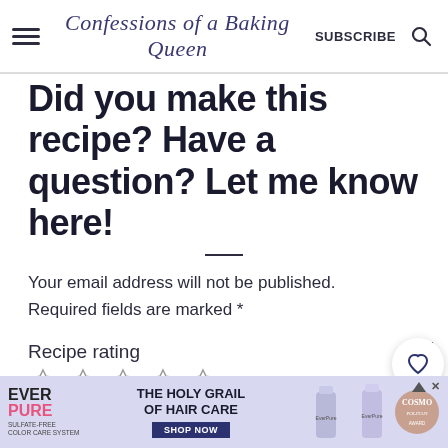Confessions of a Baking Queen  SUBSCRIBE
Did you make this recipe? Have a question? Let me know here!
Your email address will not be published. Required fields are marked *
Recipe rating
☆ ☆ ☆ ☆ ☆
Comment *
[Figure (screenshot): Ad banner: Ever Pure hair care product ad with 'The Holy Grail of Hair Care' headline, Shop Now button, product images and Cosmopolitan badge]